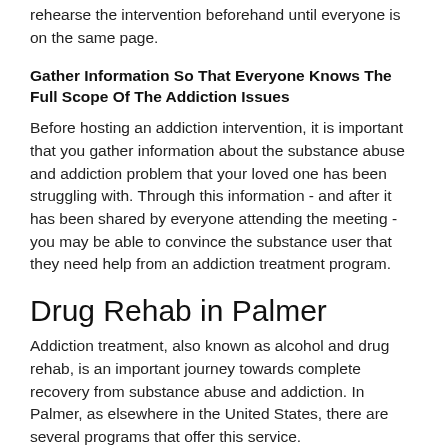rehearse the intervention beforehand until everyone is on the same page.
Gather Information So That Everyone Knows The Full Scope Of The Addiction Issues
Before hosting an addiction intervention, it is important that you gather information about the substance abuse and addiction problem that your loved one has been struggling with. Through this information - and after it has been shared by everyone attending the meeting - you may be able to convince the substance user that they need help from an addiction treatment program.
Drug Rehab in Palmer
Addiction treatment, also known as alcohol and drug rehab, is an important journey towards complete recovery from substance abuse and addiction. In Palmer, as elsewhere in the United States, there are several programs that offer this service.